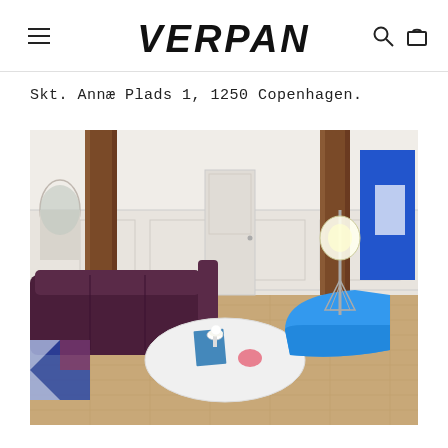VERPAN
Skt. Annæ Plads 1, 1250 Copenhagen.
[Figure (photo): Interior room with herringbone wood floor, white paneled walls with brown columns, dark purple/burgundy sofa on the left, white oval coffee table in center, blue curved chaise lounge chair on right, a floor lamp with round globe shade, a blue abstract painting on the right wall, and a small white table lamp on the coffee table.]